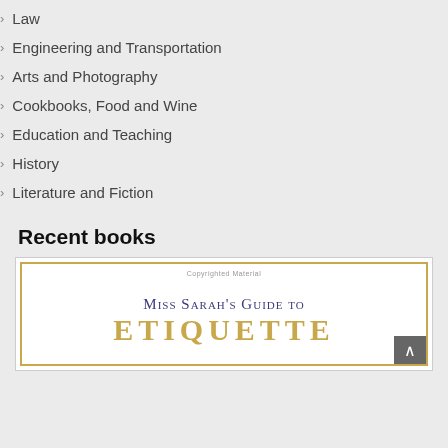Law
Engineering and Transportation
Arts and Photography
Cookbooks, Food and Wine
Education and Teaching
History
Literature and Fiction
Recent books
[Figure (photo): Book cover of Miss Sarah's Guide to Etiquette, showing title text in navy and gold on a white background with a gold decorative border. The top reads 'Copyrighted Material' in small grey text.]